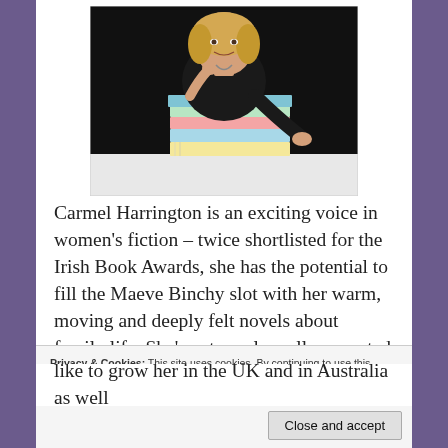[Figure (photo): A woman with blonde hair sitting behind a stack of colorful books against a dark background, resting her chin on her hand thoughtfully.]
Carmel Harrington is an exciting voice in women's fiction – twice shortlisted for the Irish Book Awards, she has the potential to fill the Maeve Binchy slot with her warm, moving and deeply felt novels about family life. She's extremely well connected in the Irish literary
Privacy & Cookies: This site uses cookies. By continuing to use this website, you agree to their use.
To find out more, including how to control cookies, see here: Cookie Policy
Close and accept
like to grow her in the UK and in Australia as well